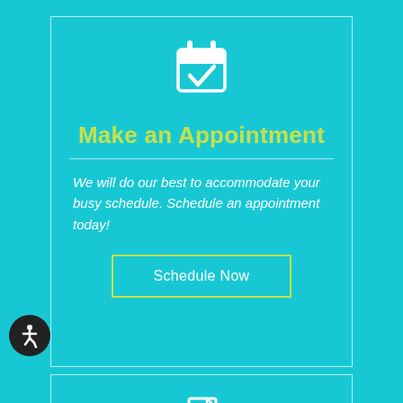[Figure (illustration): White calendar icon with a checkmark inside, on a teal background]
Make an Appointment
We will do our best to accommodate your busy schedule. Schedule an appointment today!
Schedule Now
[Figure (illustration): Accessibility wheelchair icon in white on a dark circular badge]
[Figure (illustration): White document/file icon at bottom of page, partially visible]